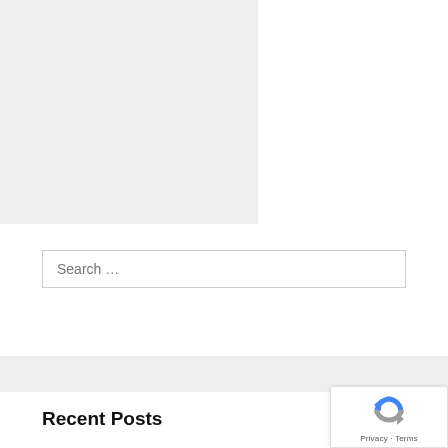[Figure (other): Gray placeholder block with a red bar across the top, likely an image placeholder area]
Search …
Recent Posts